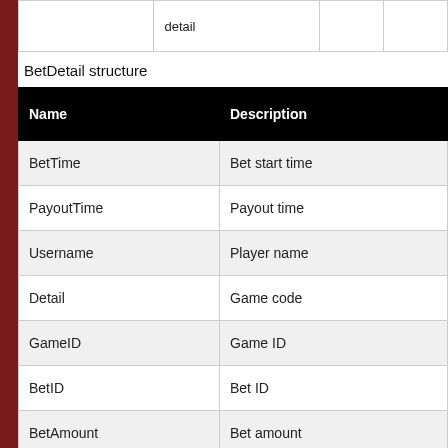|  | detail |  |  |
| --- | --- | --- | --- |
|  | detail |  |  |
BetDetail structure
| Name | Description |
| --- | --- |
| BetTime | Bet start time |
| PayoutTime | Payout time |
| Username | Player name |
| Detail | Game code |
| GameID | Game ID |
| BetID | Bet ID |
| BetAmount | Bet amount |
| Rolling | Rolling |
| ResultAmount | Payout |